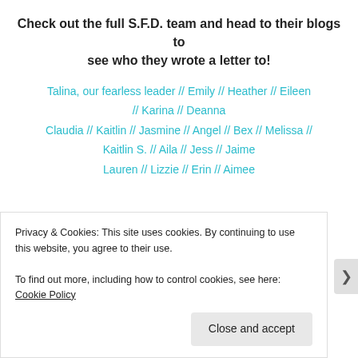Check out the full S.F.D. team and head to their blogs to see who they wrote a letter to!
Talina, our fearless leader // Emily // Heather // Eileen // Karina // Deanna
Claudia // Kaitlin // Jasmine // Angel // Bex // Melissa //
Kaitlin S. // Aila // Jess // Jaime
Lauren // Lizzie // Erin // Aimee
[Figure (other): Advertisements banner for Sensei with dark background and logo]
Privacy & Cookies: This site uses cookies. By continuing to use this website, you agree to their use.
To find out more, including how to control cookies, see here: Cookie Policy
Close and accept